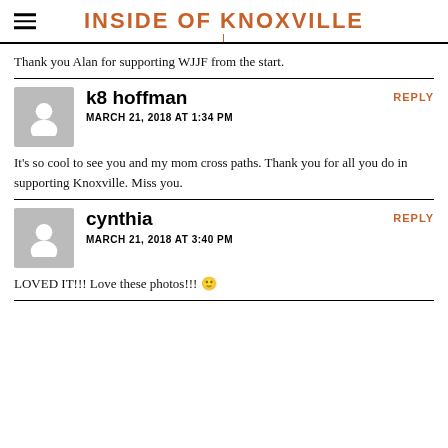INSIDE OF KNOXVILLE
Thank you Alan for supporting WJJF from the start.
k8 hoffman
MARCH 21, 2018 AT 1:34 PM
REPLY
It's so cool to see you and my mom cross paths. Thank you for all you do in supporting Knoxville. Miss you.
cynthia
MARCH 21, 2018 AT 3:40 PM
REPLY
LOVED IT!!! Love these photos!!! 🙂